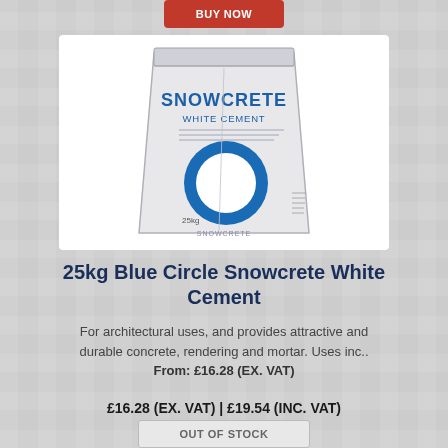[Figure (photo): 25kg bag of Blue Circle Snowcrete White Cement with blue circle logo on a white bag]
25kg Blue Circle Snowcrete White Cement
For architectural uses, and provides attractive and durable concrete, rendering and mortar. Uses inc..
From: £16.28 (EX. VAT)
£16.28 (EX. VAT) | £19.54 (INC. VAT)
OUT OF STOCK